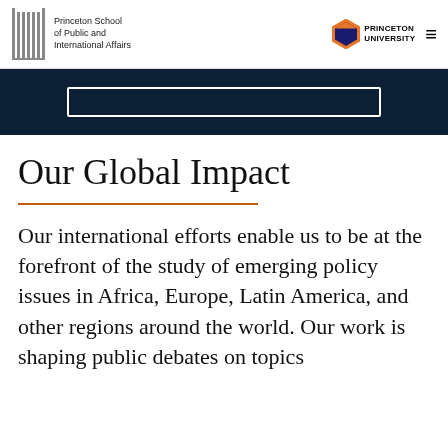Princeton School of Public and International Affairs | Princeton University
[Figure (other): Dark navy banner with a search box outline]
Our Global Impact
Our international efforts enable us to be at the forefront of the study of emerging policy issues in Africa, Europe, Latin America, and other regions around the world. Our work is shaping public debates on topics